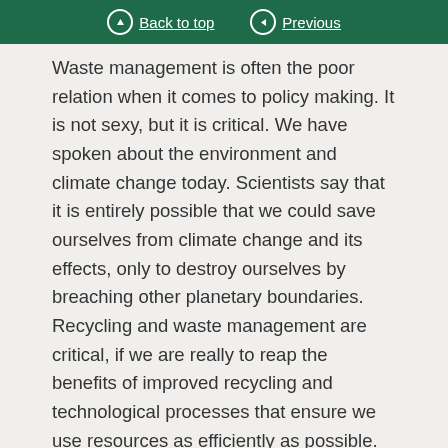Back to top | Previous
Waste management is often the poor relation when it comes to policy making. It is not sexy, but it is critical. We have spoken about the environment and climate change today. Scientists say that it is entirely possible that we could save ourselves from climate change and its effects, only to destroy ourselves by breaching other planetary boundaries. Recycling and waste management are critical, if we are really to reap the benefits of improved recycling and technological processes that ensure we use resources as efficiently as possible. As we move through the 21st century, and population increases, that will become critical.
I will withdraw amendment 130, and will not press amendments 132, 133 and 135, but will press the